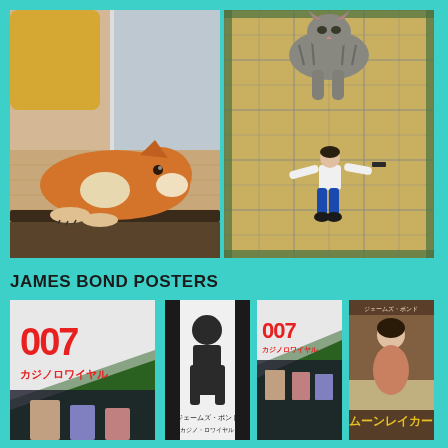[Figure (photo): Shiba Inu dog lying on a wooden floor near a window, looking down at its reflection.]
[Figure (photo): Cat on a tatami mat floor approaching a knocked-over action figure toy (James Bond style character in blue pants).]
JAMES BOND POSTERS
[Figure (photo): Japanese James Bond Casino Royale (007) movie poster with green and white design.]
[Figure (photo): Japanese James Bond movie poster showing a woman in a white dress.]
[Figure (photo): Japanese James Bond Casino Royale (007) movie poster, smaller version.]
[Figure (photo): Japanese James Bond movie poster showing a woman.]